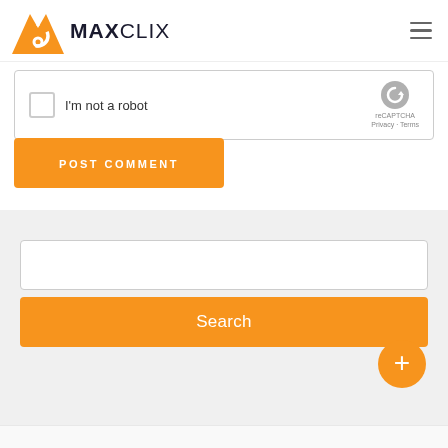[Figure (logo): MaxClix logo with orange mountain/antenna icon and MAXCLIX text in dark navy]
[Figure (screenshot): reCAPTCHA widget with checkbox labeled I'm not a robot and reCAPTCHA branding]
[Figure (screenshot): Orange POST COMMENT button with white uppercase text]
[Figure (screenshot): Search input field (empty) with orange Search button below]
[Figure (screenshot): Orange circular FAB button with plus sign]